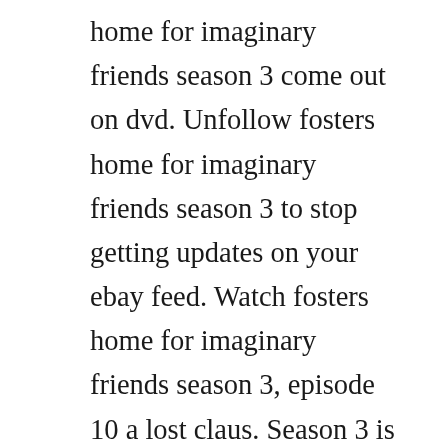home for imaginary friends season 3 come out on dvd. Unfollow fosters home for imaginary friends season 3 to stop getting updates on your ebay feed. Watch fosters home for imaginary friends season 3, episode 10 a lost claus. Season 3 is a dvd release of the american cartoon network animated series, fosters home for imaginary friends. Although hes usually shy, mac feels confident when bloos around. The show premiered on august, 2004, and ended on may 3, 2009. Start a wiki imagination companions, a fosters home for imaginary friends wiki. Fosters home for